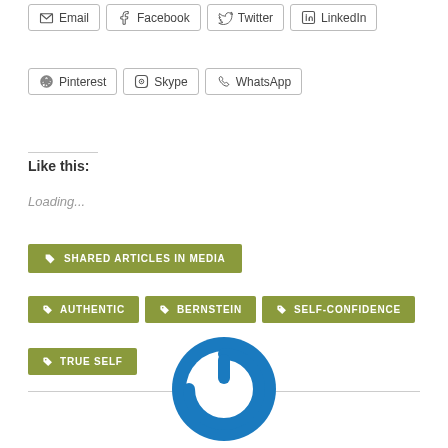Email
Facebook
Twitter
LinkedIn
Pinterest
Skype
WhatsApp
Like this:
Loading...
SHARED ARTICLES IN MEDIA
AUTHENTIC
BERNSTEIN
SELF-CONFIDENCE
TRUE SELF
[Figure (logo): Blue circular power button logo]